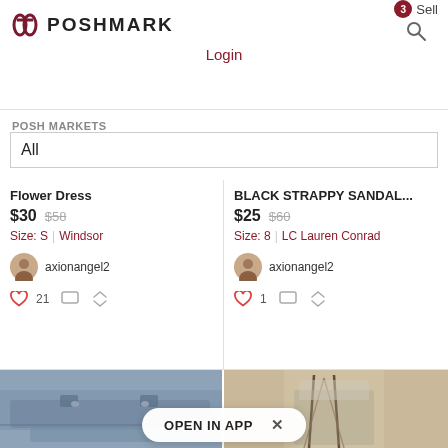Poshmark - Sell Login
POSH MARKETS
All
Flower Dress
$30  $58
Size: S | Windsor
axionangel2
❤ 21
BLACK STRAPPY SANDAL...
$25  $60
Size: 8 | LC Lauren Conrad
axionangel2
❤ 1
[Figure (photo): Denim mini skirt laid flat on a surface]
[Figure (photo): Mannequin wearing a choker necklace with long lariat straps over a lace bralette]
OPEN IN APP  ×